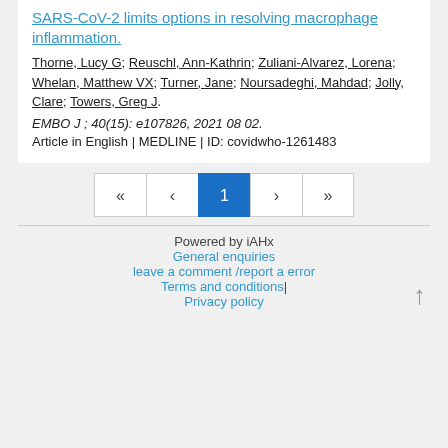SARS-CoV-2 limits options in resolving macrophage inflammation.
Thorne, Lucy G; Reuschl, Ann-Kathrin; Zuliani-Alvarez, Lorena; Whelan, Matthew VX; Turner, Jane; Noursadeghi, Mahdad; Jolly, Clare; Towers, Greg J.
EMBO J ; 40(15): e107826, 2021 08 02.
Article in English | MEDLINE | ID: covidwho-1261483
Pagination: 1
Powered by iAHx
General enquiries
leave a comment /report a error
Terms and conditions | Privacy policy